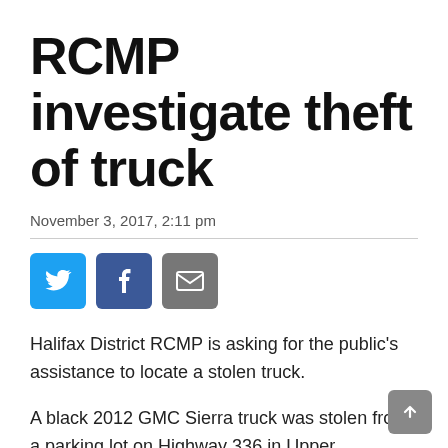RCMP investigate theft of truck
November 3, 2017, 2:11 pm
[Figure (infographic): Social share buttons: Twitter (blue), Facebook (dark blue), Email (gray)]
Halifax District RCMP is asking for the public's assistance to locate a stolen truck.
A black 2012 GMC Sierra truck was stolen from a parking lot on Highway 336 in Upper Musquodoboit during the early morning on November 2. The owner awoke to discover his truck was missing from a